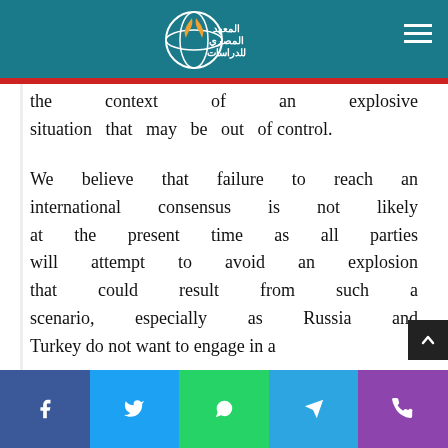المعهد المصري للدراسات (Egyptian Institute for Studies) logo header
Libya. In both cases, the widespread ... of the Egyptian a... are likely, in the context of an explosive situation that may be out of control.
We believe that failure to reach an international consensus is not likely at the present time as all parties will attempt to avoid an explosion that could result from such a scenario, especially as Russia and Turkey do not want to engage in a
Social sharing buttons: Facebook, Twitter, WhatsApp, Telegram, Phone